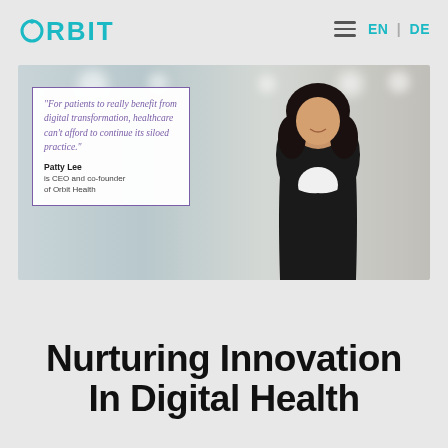ORBIT — EN | DE
[Figure (photo): Hero image of Patty Lee, CEO and co-founder of Orbit Health, smiling in a modern office setting, with a purple-bordered quote box overlay containing an italic quote in purple text and her name and title in black.]
Nurturing Innovation In Digital Health